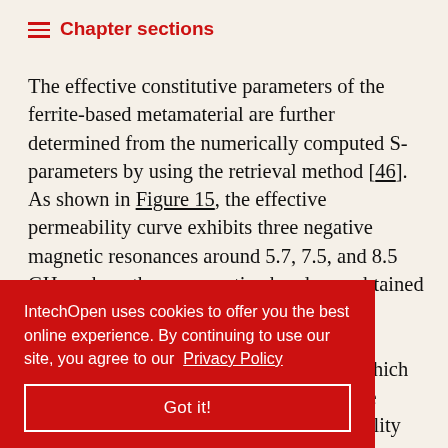Chapter sections
The effective constitutive parameters of the ferrite-based metamaterial are further determined from the numerically computed S-parameters by using the retrieval method [46]. As shown in Figure 15, the effective permeability curve exhibits three negative magnetic resonances around 5.7, 7.5, and 8.5 GHz, where three μ-negative bands are obtained in 5.7–5.9, 7.5–7.7, and 8.5–9.0 GHz, respectively. It is also shown that a weak electric resonance appears at 10.2 GHz, which is not strong enough to obtain a ε-negative band. Comparison of theoretical permeability of ...erically ...ferrite slab ...insic ...hese two ...e μ-negative band in the simulation is much narrower than that of
IntechOpen uses cookies to offer you the best online experience. By continuing to use our site, you agree to our Privacy Policy
Got it!